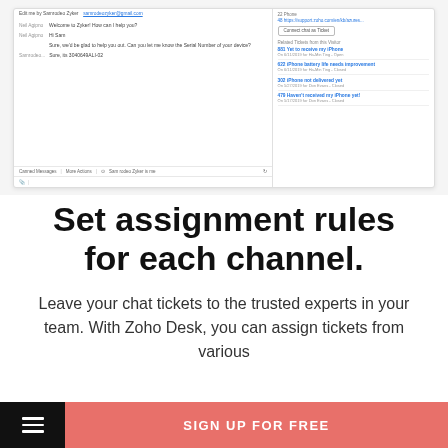[Figure (screenshot): Screenshot of Zoho Desk chat interface showing a conversation with a visitor and related tickets panel on the right side.]
Set assignment rules for each channel.
Leave your chat tickets to the trusted experts in your team. With Zoho Desk, you can assign tickets from various
SIGN UP FOR FREE